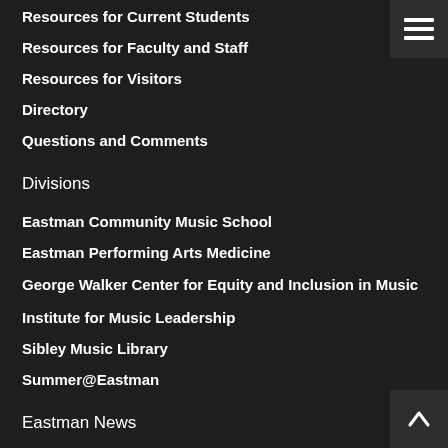Resources for Current Students
Resources for Faculty and Staff
Resources for Visitors
Directory
Questions and Comments
Divisions
Eastman Community Music School
Eastman Performing Arts Medicine
George Walker Center for Equity and Inclusion in Music
Institute for Music Leadership
Sibley Music Library
Summer@Eastman
Eastman News
Wellness at Eastman: "Ear Plugs – Why Bother?"